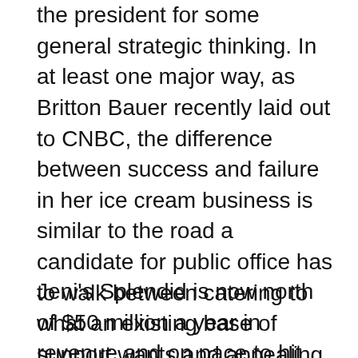the president for some general strategic thinking. In at least one major way, as Britton Bauer recently laid out to CNBC, the difference between success and failure in her ice cream business is similar to the road a candidate for public office has to walk between catering to what an existing base of support wants and appealing to new fans at the same time.
Jeni's Splendid is now north of $50 million a year in revenue and on pace to hit the 50 store mark next year (it has a little under that number of stores